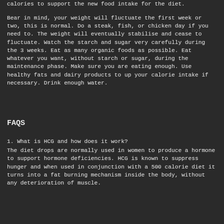calories to support the new food intake for the diet.
Bear in mind, your weight will fluctuate the first week or two, this is normal. Do a steak, fish, or chicken day if you need to. The weight will eventually stabilise and cease to fluctuate. Watch the starch and sugar very carefully during the 3 weeks. Eat as many organic foods as possible. Eat whatever you want, without starch or sugar, during the maintenance phase. Make sure you are eating enough. Use healthy fats and dairy products to up your calorie intake if necessary. Drink enough water.
FAQS
1. What is HCG and how does it work?
The diet drops are normally used in women to produce a hormone to support hormone deficiencies. HCG is known to suppress hunger and when used in conjunction with a 500 calorie diet it turns into a fat burning mechanism inside the body, without any deterioration of muscle.